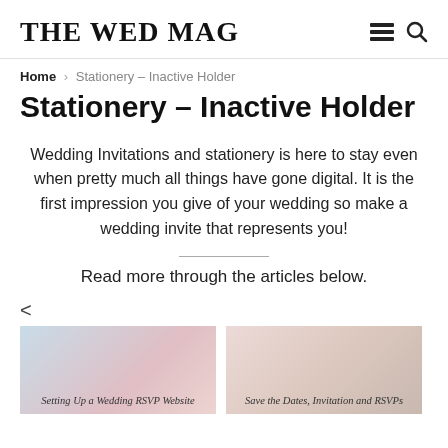THE WED MAG
Home › Stationery – Inactive Holder
Stationery – Inactive Holder
Wedding Invitations and stationery is here to stay even when pretty much all things have gone digital. It is the first impression you give of your wedding so make a wedding invite that represents you!
Read more through the articles below.
[Figure (photo): Article card: Setting Up a Wedding RSVP Website]
[Figure (photo): Article card: Save the Dates, Invitation and RSVPs]